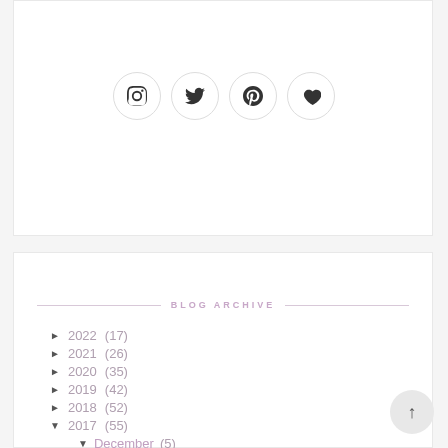[Figure (illustration): Social media icon buttons in circles: Instagram, Twitter, Pinterest, Heart/Bloglovin]
BLOG ARCHIVE
► 2022 (17)
► 2021 (26)
► 2020 (35)
► 2019 (42)
► 2018 (52)
▼ 2017 (55)
▼ December (5)
This month: Christmas